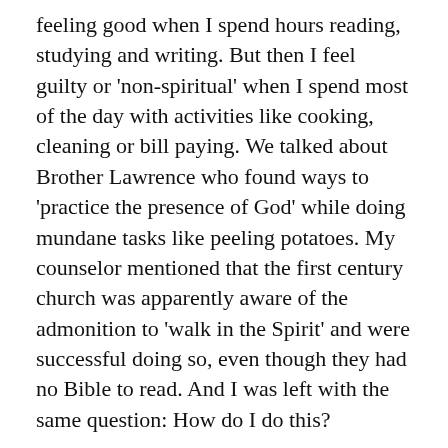feeling good when I spend hours reading, studying and writing.  But then I feel guilty or 'non-spiritual' when I spend most of the day with activities like cooking, cleaning or bill paying.   We talked about Brother Lawrence who found ways to 'practice the presence of God' while doing mundane tasks like peeling potatoes.  My counselor mentioned that the first century church was apparently aware of the admonition to 'walk in the Spirit' and were successful doing so, even though they had no Bible to read.  And I was left with the same question:  How do I do this?
During the night, when I awoke and talked quietly with the Lord, He introduced these thoughts:
“Just live — do what you find necessary — not lots of extras or new projects.   Spend time in My Word.  Talk to Me throughout your day and acknowledge that I am